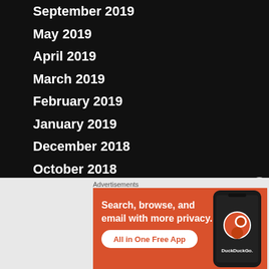September 2019
May 2019
April 2019
March 2019
February 2019
January 2019
December 2018
October 2018
September 2018
August 2018
July 2018
June 2018
Advertisements
[Figure (screenshot): DuckDuckGo advertisement: Search, browse, and email with more privacy. All in One Free App. Shows a phone with DuckDuckGo app on orange background.]